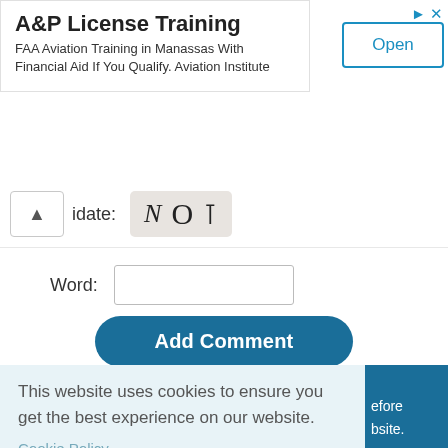[Figure (screenshot): Ad banner for A&P License Training. Title: 'A&P License Training', description: 'FAA Aviation Training in Manassas With Financial Aid If You Qualify. Aviation Institute', with an 'Open' button.]
idate:
N O T
Word:
Add Comment
This website uses cookies to ensure you get the best experience on our website.
Cookie Policy
Got it!
efore
bsite.